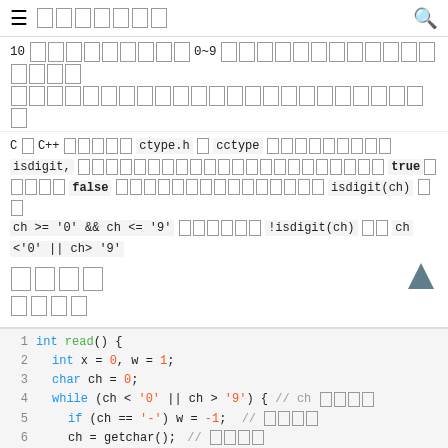≡ [title chars] 🔍
10 [chars] 0~9 [chars]
C / C++ [chars] ctype.h / cctype [chars] isdigit, [chars] true [chars] false [chars] isdigit(ch) [chars] ch >= '0' && ch <= '9' [chars] !isdigit(ch) [chars] ch <'0' || ch> '9'
[section chars]
[Figure (screenshot): Code snippet showing a read() function in C/C++ with syntax highlighting]
1  int read() {
2      int x = 0, w = 1;
3      char ch = 0;
4      while (ch < '0' || ch > '9') {  // ch [chars]
5        if (ch == '-') w = -1;
6        ch = getchar();  //